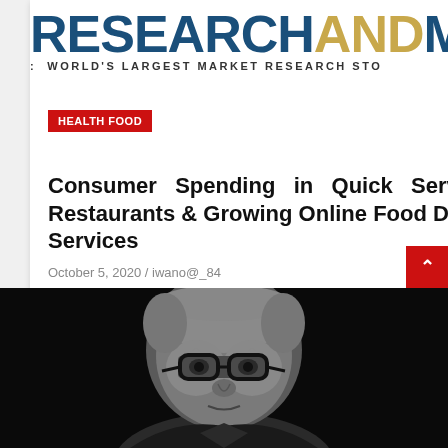RESEARCHANDMARKETS THE WORLD'S LARGEST MARKET RESEARCH STORE
HEALTH FOOD
Consumer Spending in Quick Service Restaurants & Growing Online Food Delivery Services
October 5, 2020 / iwano@_84
[Figure (photo): Black and white photo of an elderly man with glasses, photographed from below against a dark background]